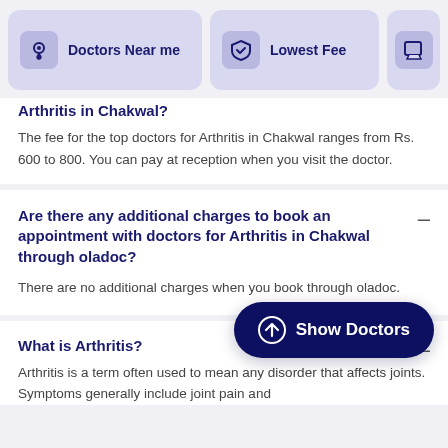[Figure (screenshot): Navigation bar with two buttons: 'Doctors Near me' with location pin icon and 'Lowest Fee' with shield icon, and partial third button visible]
Arthritis in Chakwal?
The fee for the top doctors for Arthritis in Chakwal ranges from Rs. 600 to 800. You can pay at reception when you visit the doctor.
Are there any additional charges to book an appointment with doctors for Arthritis in Chakwal through oladoc?
There are no additional charges when you book through oladoc.
What is Arthritis?
Arthritis is a term often used to mean any disorder that affects joints. Symptoms generally include joint pain and